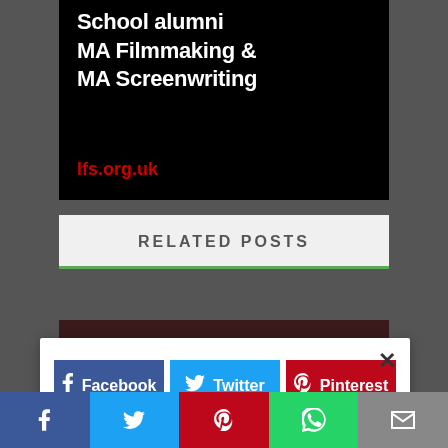[Figure (screenshot): Black panel showing text 'School alumni MA Filmmaking & MA Screenwriting' in white, and 'lfs.org.uk' in red]
RELATED POSTS
[Figure (photo): Dark image strip below related posts heading]
[Figure (screenshot): Social sharing popup with close X button, showing Facebook, Twitter, Pinterest buttons and a second row with WhatsApp and more options]
[Figure (screenshot): Bottom navigation bar with social sharing icons: Facebook, Twitter, Pinterest, WhatsApp, Email]